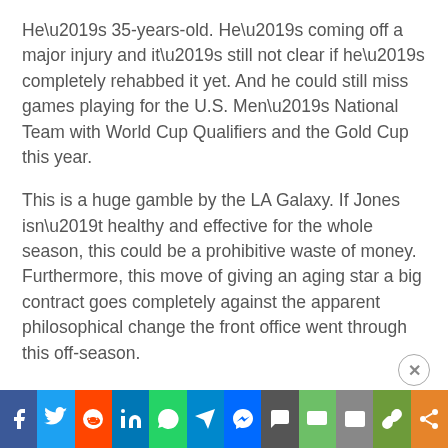He’s 35-years-old. He’s coming off a major injury and it’s still not clear if he’s completely rehabbed it yet. And he could still miss games playing for the U.S. Men’s National Team with World Cup Qualifiers and the Gold Cup this year.
This is a huge gamble by the LA Galaxy. If Jones isn’t healthy and effective for the whole season, this could be a prohibitive waste of money. Furthermore, this move of giving an aging star a big contract goes completely against the apparent philosophical change the front office went through this off-season.